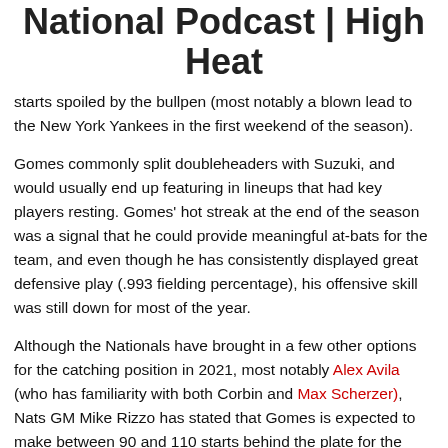National Podcast | High Heat
starts spoiled by the bullpen (most notably a blown lead to the New York Yankees in the first weekend of the season).
Gomes commonly split doubleheaders with Suzuki, and would usually end up featuring in lineups that had key players resting. Gomes' hot streak at the end of the season was a signal that he could provide meaningful at-bats for the team, and even though he has consistently displayed great defensive play (.993 fielding percentage), his offensive skill was still down for most of the year.
Although the Nationals have brought in a few other options for the catching position in 2021, most notably Alex Avila (who has familiarity with both Corbin and Max Scherzer), Nats GM Mike Rizzo has stated that Gomes is expected to make between 90 and 110 starts behind the plate for the team in 2021. Rizzo's statement brings us to a simple conclusion: the team's fortunes in 2021 will rely